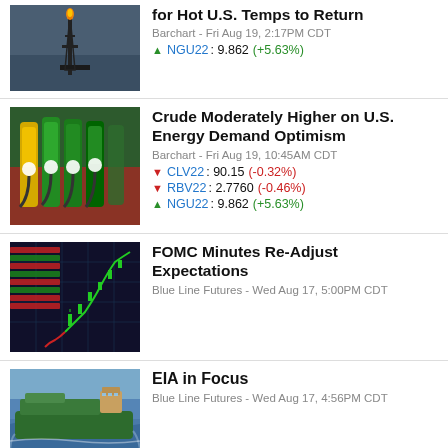[Figure (photo): Oil rig/flare stack silhouette against dark sky]
for Hot U.S. Temps to Return
Barchart - Fri Aug 19, 2:17PM CDT
▲ NGU22 : 9.862 (+5.63%)
[Figure (photo): Colorful gas pump nozzles at a fuel station]
Crude Moderately Higher on U.S. Energy Demand Optimism
Barchart - Fri Aug 19, 10:45AM CDT
▼ CLV22 : 90.15 (-0.32%)
▼ RBV22 : 2.7760 (-0.46%)
▲ NGU22 : 9.862 (+5.63%)
[Figure (photo): Stock trading chart on digital screens]
FOMC Minutes Re-Adjust Expectations
Blue Line Futures - Wed Aug 17, 5:00PM CDT
[Figure (photo): Large oil tanker ship at sea]
EIA in Focus
Blue Line Futures - Wed Aug 17, 4:56PM CDT